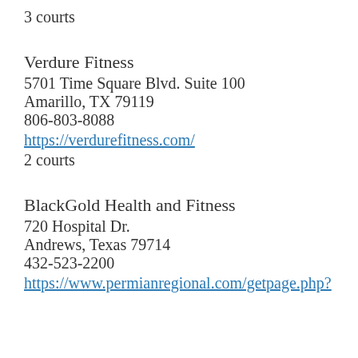3 courts
Verdure Fitness
5701 Time Square Blvd. Suite 100
Amarillo, TX 79119
806-803-8088
https://verdurefitness.com/
2 courts
BlackGold Health and Fitness
720 Hospital Dr.
Andrews, Texas 79714
432-523-2200
https://www.permianregional.com/getpage.php?